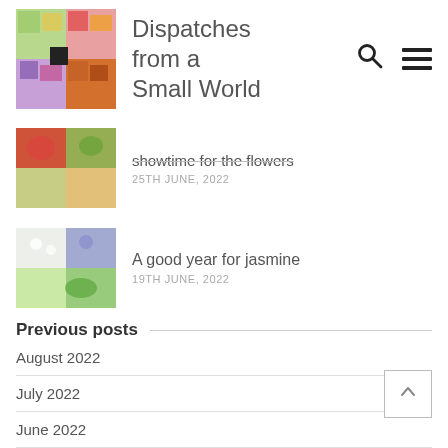Dispatches from a Small World
showtime for the flowers
25TH JUNE, 2022
A good year for jasmine
19TH JUNE, 2022
Previous posts
August 2022
July 2022
June 2022
May 2022
April 2022